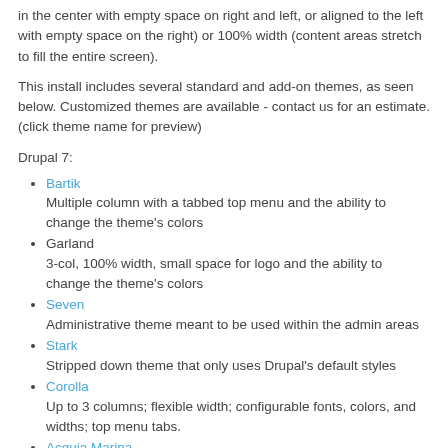in the center with empty space on right and left, or aligned to the left with empty space on the right) or 100% width (content areas stretch to fill the entire screen).
This install includes several standard and add-on themes, as seen below. Customized themes are available - contact us for an estimate. (click theme name for preview)
Drupal 7:
Bartik — Multiple column with a tabbed top menu and the ability to change the theme's colors
Garland — 3-col, 100% width, small space for logo and the ability to change the theme's colors
Seven — Administrative theme meant to be used within the admin areas
Stark — Stripped down theme that only uses Drupal's default styles
Corolla — Up to 3 columns; flexible width; configurable fonts, colors, and widths; top menu tabs.
Acquia Marina — Flexible layout theme - has numerous blocks that can be placed in various regions, primary menu uses tabs